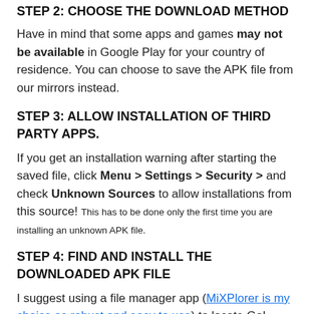STEP 2: CHOOSE THE DOWNLOAD METHOD
Have in mind that some apps and games may not be available in Google Play for your country of residence. You can choose to save the APK file from our mirrors instead.
STEP 3: ALLOW INSTALLATION OF THIRD PARTY APPS.
If you get an installation warning after starting the saved file, click Menu > Settings > Security > and check Unknown Sources to allow installations from this source! This has to be done only the first time you are installing an unknown APK file.
STEP 4: FIND AND INSTALL THE DOWNLOADED APK FILE
I suggest using a file manager app (MiXPlorer is my choice as robust and easy to use) to locate Go! Taipei Metro apk file. It is most commonly located in the Downloads folder. Open it now and proceed to installation (check out this How to Download and Install APK and XAPK files guide if...